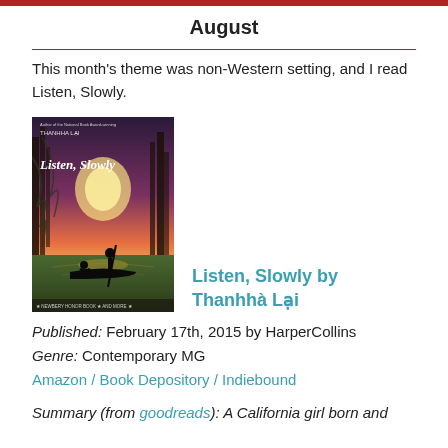August
This month's theme was non-Western setting, and I read Listen, Slowly.
[Figure (photo): Book cover of 'Listen, Slowly' by Thanhha Lai, showing a silhouetted figure in a boat on a misty, colorful waterway with trees.]
Listen, Slowly by Thanhhà Lại
Published: February 17th, 2015 by HarperCollins
Genre: Contemporary MG
Amazon / Book Depository / Indiebound
Summary (from goodreads): A California girl born and